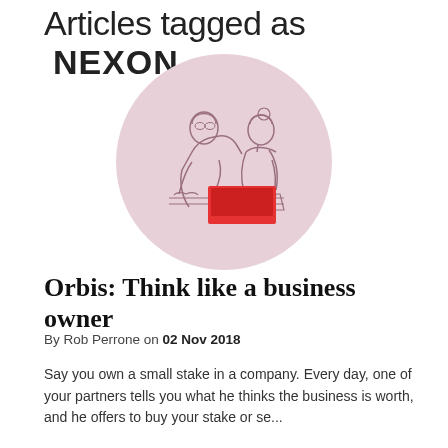Articles tagged as NEXON
[Figure (illustration): Two women sitting at a table looking at a laptop, line art illustration on a pink circular background with a red rectangle overlay]
Orbis: Think like a business owner
By Rob Perrone on 02 Nov 2018
Say you own a small stake in a company. Every day, one of your partners tells you what he thinks the business is worth, and he offers to buy your stake or se...